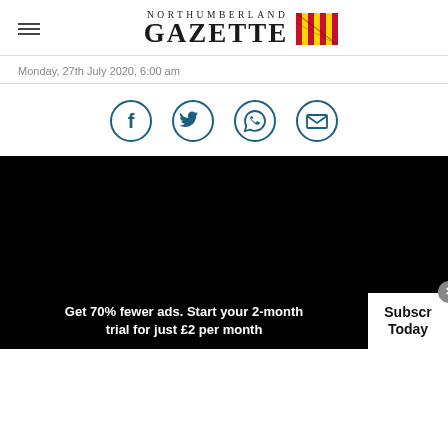NORTHUMBERLAND GAZETTE
Monday, 27th July 2020, 6:00 am
[Figure (other): Social share icons: Facebook, Twitter, WhatsApp, Email as circular outlined buttons]
[Figure (other): Black video/media embed area]
Get 70% fewer ads. Start your 2-month trial for just £2 per month
Subscribe Today